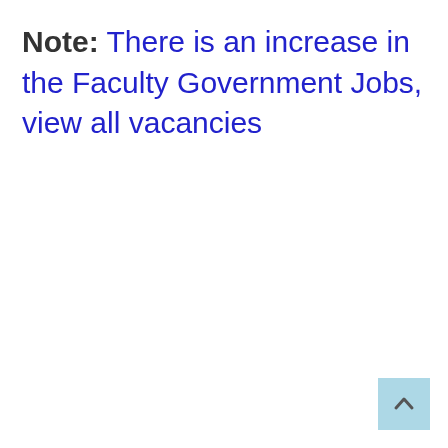Note: There is an increase in the Faculty Government Jobs, view all vacancies